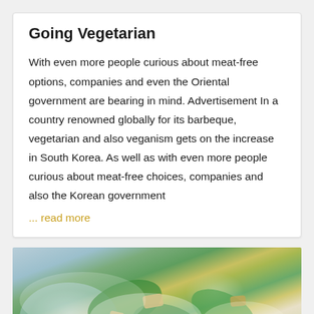Going Vegetarian
With even more people curious about meat-free options, companies and even the Oriental government are bearing in mind. Advertisement In a country renowned globally for its barbeque, vegetarian and also veganism gets on the increase in South Korea. As well as with even more people curious about meat-free choices, companies and also the Korean government
... read more
[Figure (photo): Close-up photo of a vegetarian salad with green leaves and creamy dressing]